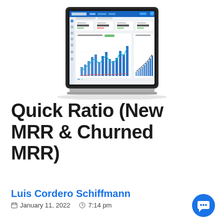[Figure (screenshot): Laptop screen showing a financial analytics dashboard with bar charts and line charts for MRR metrics]
Quick Ratio (New MRR & Churned MRR)
Luis Cordero Schiffmann
January 11, 2022   7:14 pm